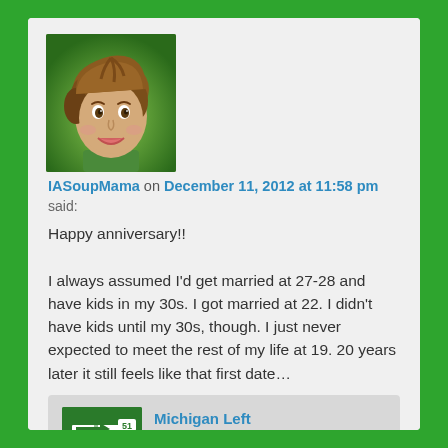[Figure (illustration): Cartoon avatar of a woman with curly brown hair and green background, smiling.]
IASoupMama on December 11, 2012 at 11:58 pm
said:
Happy anniversary!!

I always assumed I'd get married at 27-28 and have kids in my 30s. I got married at 22. I didn't have kids until my 30s, though. I just never expected to meet the rest of my life at 19. 20 years later it still feels like that first date…
[Figure (logo): Michigan Left logo — green and white road sign style icon.]
Michigan Left on December 12, 2012 at 11:35 am said:
Awwww. And that's all that matters.